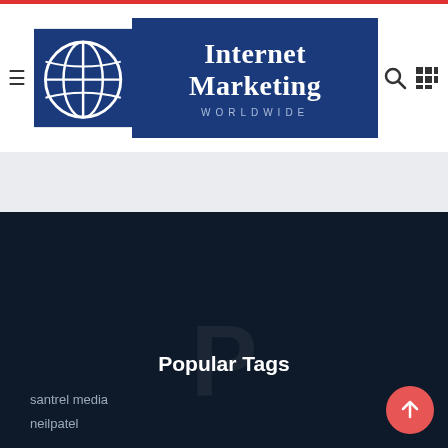[Figure (logo): Internet Marketing Worldwide logo with globe icon on blue banner background]
Popular Tags
santrel media
neilpatel